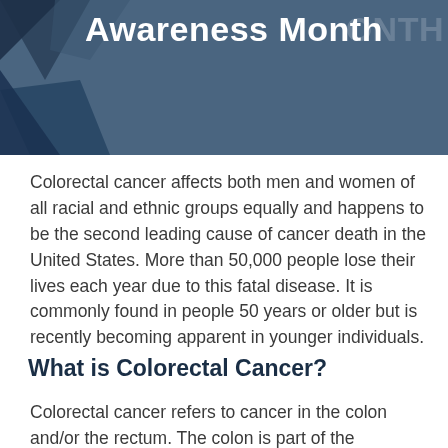[Figure (illustration): Dark blue/grey banner header with geometric diamond/chevron shapes in the lower-left corner in darker navy blue tones. The banner has overlapping text 'Awareness Month' prominently in white bold font, with a faint ghost text 'ONTH' visible in the upper right area.]
Awareness Month
Colorectal cancer affects both men and women of all racial and ethnic groups equally and happens to be the second leading cause of cancer death in the United States. More than 50,000 people lose their lives each year due to this fatal disease. It is commonly found in people 50 years or older but is recently becoming apparent in younger individuals.
What is Colorectal Cancer?
Colorectal cancer refers to cancer in the colon and/or the rectum. The colon is part of the